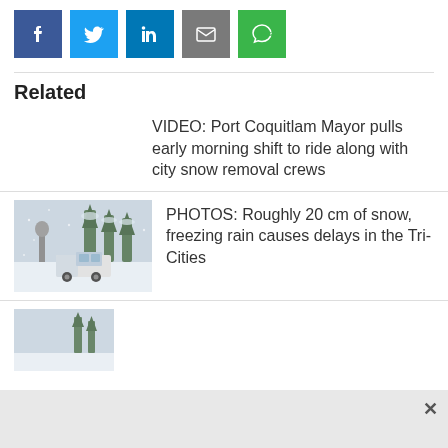[Figure (other): Social share buttons: Facebook (blue), Twitter (light blue), LinkedIn (dark blue), Email (grey), SMS (green)]
Related
VIDEO: Port Coquitlam Mayor pulls early morning shift to ride along with city snow removal crews
[Figure (photo): Snow scene with a truck driving on a snowy road with snow-covered trees in background]
PHOTOS: Roughly 20 cm of snow, freezing rain causes delays in the Tri-Cities
[Figure (photo): Partially visible snowy scene photo at bottom of page]
×